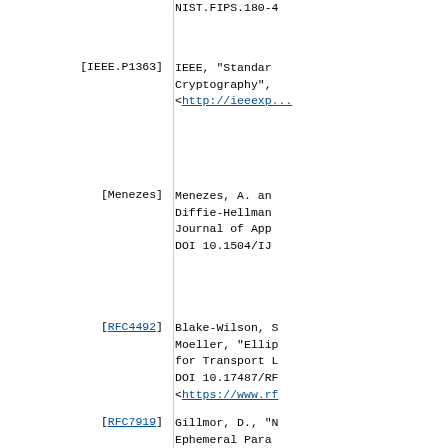NIST.FIPS.180-4
[IEEE.P1363]  IEEE, "Standard... Cryptography", ... <http://ieeexp...>
[Menezes]  Menezes, A. and... Diffie-Hellman... Journal of Appl... DOI 10.1504/IJA...
[RFC4492]  Blake-Wilson, S... Moeller, "Ellip... for Transport L... DOI 10.17487/RF... <https://www.rf...>
[RFC7919]  Gillmor, D., "N... Ephemeral Param...